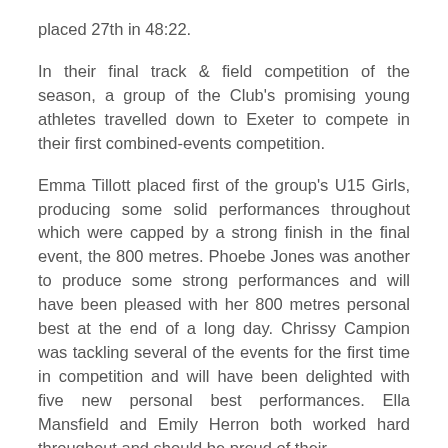placed 27th in 48:22.
In their final track & field competition of the season, a group of the Club's promising young athletes travelled down to Exeter to compete in their first combined-events competition.
Emma Tillott placed first of the group's U15 Girls, producing some solid performances throughout which were capped by a strong finish in the final event, the 800 metres. Phoebe Jones was another to produce some strong performances and will have been pleased with her 800 metres personal best at the end of a long day. Chrissy Campion was tackling several of the events for the first time in competition and will have been delighted with five new personal best performances. Ella Mansfield and Emily Herron both worked hard throughout and should be proud of their